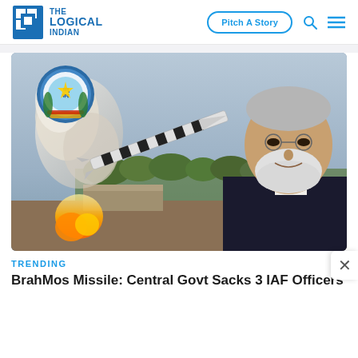THE LOGICAL INDIAN — Pitch A Story
[Figure (photo): Composite image showing a BrahMos missile being launched with fire and smoke, an Indian Air Force emblem/logo in the upper left corner, and a portrait of Prime Minister Narendra Modi on the right side, smiling, wearing a dark vest.]
TRENDING
BrahMos Missile: Central Govt Sacks 3 IAF Officers